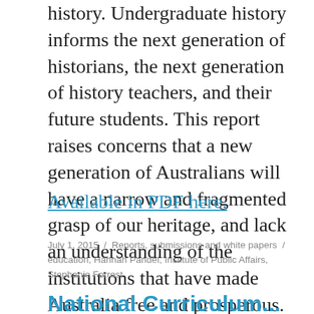history. Undergraduate history informs the next generation of historians, the next generation of history teachers, and their future students. This report raises concerns that a new generation of Australians will have a narrow and fragmented grasp of our heritage, and lack an understanding of the institutions that have made Australia free and prosperous.
Available in PDF here.
July 1, 2015 / Reports, submissions and white papers / education, Hannah Pandel, Institute of Public Affairs, Stephanie Forrest
National Curriculum...